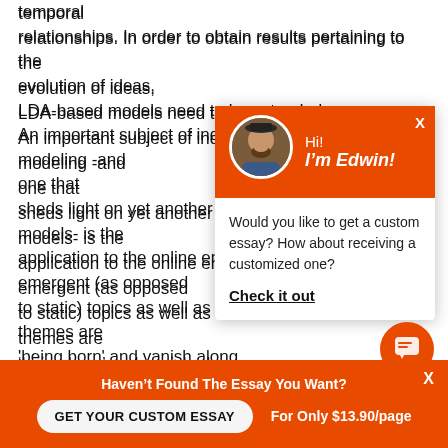temporal relationships. In order to obtain results pertaining to the evolution of ideas, LDA-based models need to be extended. An important subject of inquiry in topic evolution modeling -and one that sheds light on yet another weakness of existing models- is the application to the online environment: emergent (as opposed to static) topics as well as broader latent themes are 'being born' and vanish along the way. Dynamic environments require specific algorithms to track birth and disappearance.
[Figure (other): Chat popup with orange header showing avatar of Edwin, greeting 'Hi! I'm Edwin!', body text 'Would you like to get a custom essay? How about receiving a customized one?' and 'Check it out' link. Orange chat icon button bottom right.]
[Figure (other): Bottom orange banner: "Haven't Found The Essay You Want?" with 'GET YOUR CUSTOM ESSAY' button and 'For Only $13.90/page' text.]